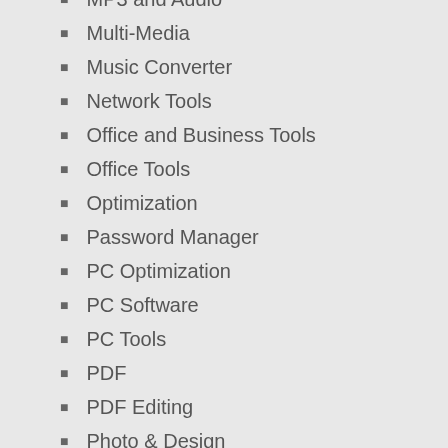MP3 and Audio
Multi-Media
Music Converter
Network Tools
Office and Business Tools
Office Tools
Optimization
Password Manager
PC Optimization
PC Software
PC Tools
PDF
PDF Editing
Photo & Design
Photo Editing
Project Management
protection